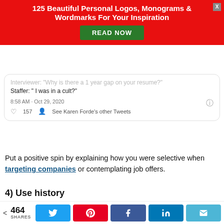[Figure (screenshot): Red advertisement banner: '125 Beautiful Personal Logos, Monograms & Wordmarks For Your Inspiration' with green 'READ NOW' button and close X]
[Figure (screenshot): Tweet from (partially visible): Interviewer: 'Why is there a 1 year gap on your resume?' Staffer: 'I was in a cult?' — 8:58 AM · Oct 29, 2020 — 157 likes — See Karen Forde's other Tweets]
Put a positive spin by explaining how you were selective when targeting companies or contemplating job offers.
4) Use history
[Figure (screenshot): Tweet card from @kr_mcluckie (kramesgiving kramucopia with emojis), Twitter bird icon visible, partial tweet text cut off]
464 SHARES — Twitter, Pinterest, Facebook, LinkedIn, Email share buttons